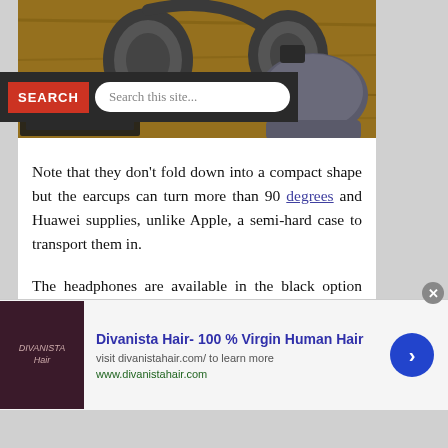[Figure (photo): Overhead photo of over-ear headphones with a carrying case and keyboard on a wooden surface]
Note that they don't fold down into a compact shape but the earcups can turn more than 90 degrees and Huawei supplies, unlike Apple, a semi-hard case to transport them in.
The headphones are available in the black option shown here or a pale gold colour.
Sound Quality &
[Figure (other): Advertisement banner: Divanista Hair- 100 % Virgin Human Hair, visit divanistahair.com/ to learn more, www.divanistahair.com]